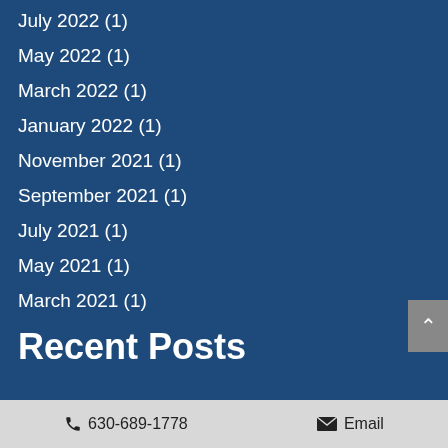July 2022 (1)
May 2022 (1)
March 2022 (1)
January 2022 (1)
November 2021 (1)
September 2021 (1)
July 2021 (1)
May 2021 (1)
March 2021 (1)
Recent Posts
630-689-1778   Email